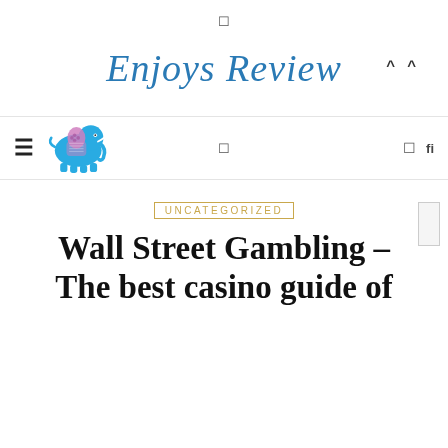☰
Enjoys Review
^^ (navigation icons)
≡ [elephant logo] □ □ fl (navbar)
UNCATEGORIZED
Wall Street Gambling – The best casino guide of